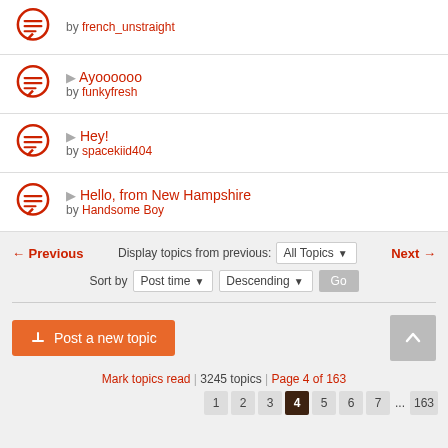by french_unstraight
Ayoooooo by funkyfresh
Hey! by spacekiid404
Hello, from New Hampshire by Handsome Boy
← Previous  Display topics from previous: All Topics ▾  Next →
Sort by  Post time ▾  Descending ▾  Go
✏ Post a new topic
Mark topics read | 3245 topics | Page 4 of 163
1  2  3  4  5  6  7  ...  163